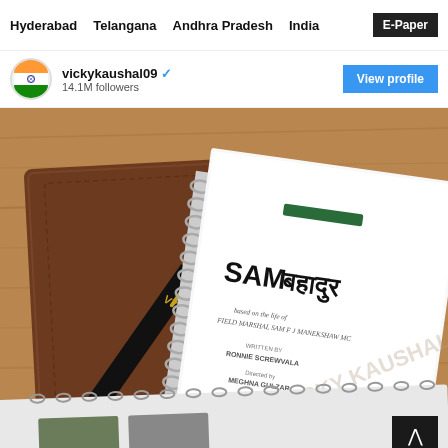Hyderabad   Telangana   Andhra Pradesh   India   E-Paper
vickykaushal09 ✓
14.1M followers
View profile
[Figure (photo): Instagram post by vickykaushal09 showing a spiral-bound script for the film 'SAM Bahadur' alongside a brown leather notebook and a black pen on a wooden table. The script cover reads 'SAMबहादुर' with a watermark 'VICKY KAUSHAL'. A small vintage photo is partially visible at the bottom of the image.]